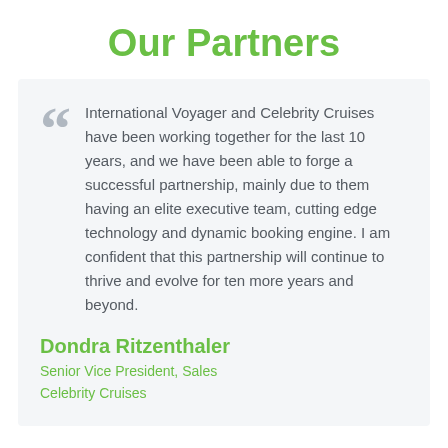Our Partners
International Voyager and Celebrity Cruises have been working together for the last 10 years, and we have been able to forge a successful partnership, mainly due to them having an elite executive team, cutting edge technology and dynamic booking engine. I am confident that this partnership will continue to thrive and evolve for ten more years and beyond.
Dondra Ritzenthaler
Senior Vice President, Sales
Celebrity Cruises